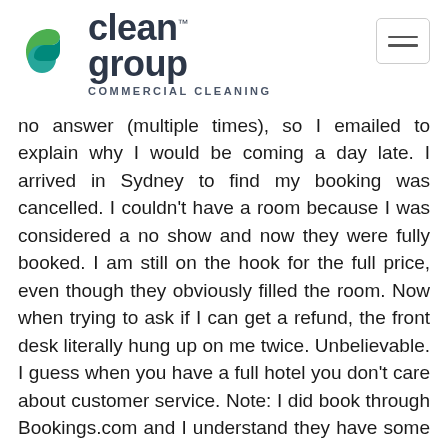[Figure (logo): Clean Group Commercial Cleaning logo with green/teal swirl icon and text]
no answer (multiple times), so I emailed to explain why I would be coming a day late. I arrived in Sydney to find my booking was cancelled. I couldn't have a room because I was considered a no show and now they were fully booked. I am still on the hook for the full price, even though they obviously filled the room. Now when trying to ask if I can get a refund, the front desk literally hung up on me twice. Unbelievable. I guess when you have a full hotel you don't care about customer service. Note: I did book through Bookings.com and I understand they have some responsibility in this. Also there is the possibility that the Hotel is understaffed and they are unable to deal with complaints or check their emails or answer the phone. Idk.